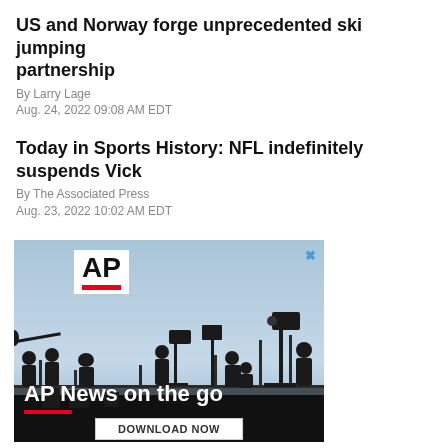US and Norway forge unprecedented ski jumping partnership
By Larry Lage
Aug. 24, 2022 09:08 AM EDT
Today in Sports History: NFL indefinitely suspends Vick
By The Associated Press
Aug. 23, 2022 10:02 AM EDT
[Figure (photo): AP News advertisement showing silhouettes of camera operators and journalists against a blue sky background. Contains AP logo in white box, text 'AP News on the go' in white, a red bar underline, and a 'DOWNLOAD NOW' button at bottom.]